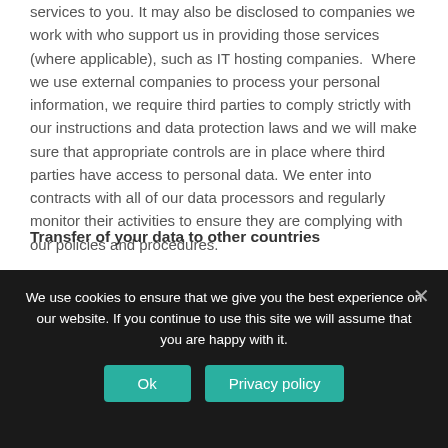services to you. It may also be disclosed to companies we work with who support us in providing those services (where applicable), such as IT hosting companies. Where we use external companies to process your personal information, we require third parties to comply strictly with our instructions and data protection laws and we will make sure that appropriate controls are in place where third parties have access to personal data. We enter into contracts with all of our data processors and regularly monitor their activities to ensure they are complying with our policies and procedures.
Transfer of your data to other countries
In the course of carrying out the activities referred to above, we may transfer your personal information to other
We use cookies to ensure that we give you the best experience on our website. If you continue to use this site we will assume that you are happy with it.